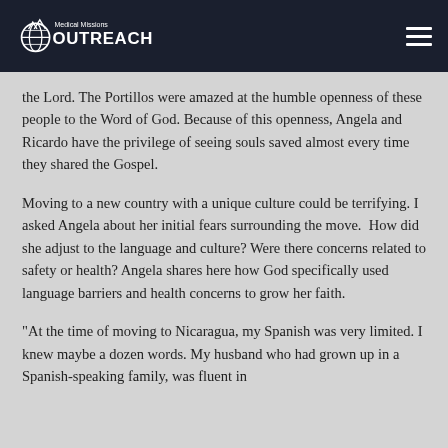Medical Missions Outreach
the Lord. The Portillos were amazed at the humble openness of these people to the Word of God. Because of this openness, Angela and Ricardo have the privilege of seeing souls saved almost every time they shared the Gospel.
Moving to a new country with a unique culture could be terrifying. I asked Angela about her initial fears surrounding the move.  How did she adjust to the language and culture? Were there concerns related to safety or health? Angela shares here how God specifically used language barriers and health concerns to grow her faith.
“At the time of moving to Nicaragua, my Spanish was very limited. I knew maybe a dozen words. My husband who had grown up in a Spanish-speaking family, was fluent in